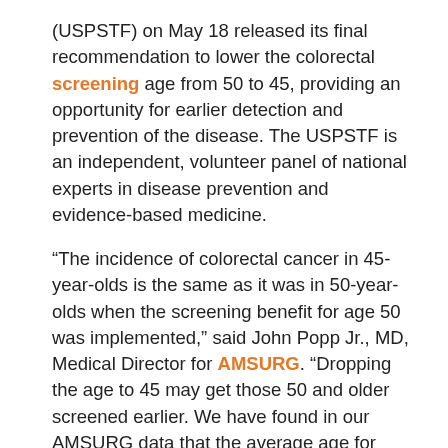(USPSTF) on May 18 released its final recommendation to lower the colorectal screening age from 50 to 45, providing an opportunity for earlier detection and prevention of the disease. The USPSTF is an independent, volunteer panel of national experts in disease prevention and evidence-based medicine.
“The incidence of colorectal cancer in 45-year-olds is the same as it was in 50-year-olds when the screening benefit for age 50 was implemented,” said John Popp Jr., MD, Medical Director for AMSURG. “Dropping the age to 45 may get those 50 and older screened earlier. We have found in our AMSURG data that the average age for initial screening is about 58.”
Increase in Cases...